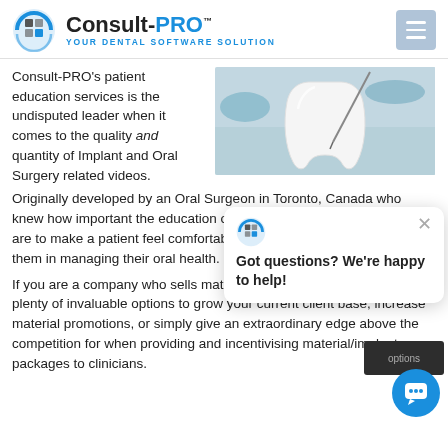[Figure (logo): Consult-PRO logo with tagline YOUR DENTAL SOFTWARE SOLUTION]
Consult-PRO's patient education services is the undisputed leader when it comes to the quality and quantity of Implant and Oral Surgery related videos. Originally developed by an Oral Surgeon in Toronto, Canada who knew how important the education of treatments and consequences are to make a patient feel comfortable understanding and empowering them in managing their oral health.
[Figure (photo): Close-up photo of a dental tooth model with dental instruments]
If you are a company who sells materials, Consult-PRO provides plenty of invaluable options to grow your current client base, increase material promotions, or simply give an extraordinary edge above the competition for when providing and incentivising material/implant packages to clinicians.
[Figure (screenshot): Chat popup with Consult-PRO logo and message: Got questions? We're happy to help!]